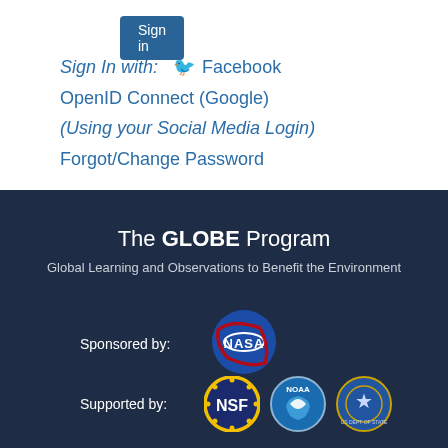[Figure (screenshot): Sign In button (blue rounded rectangle)]
Sign In with: [Facebook icon] Facebook
OpenID Connect (Google)
(Using your Social Media Login)
Forgot/Change Password
The GLOBE Program
Global Learning and Observations to Benefit the Environment
Sponsored by:
[Figure (logo): NASA logo - blue sphere with red swoosh and white NASA text]
Supported by:
[Figure (logo): NSF logo (gold star ring), NOAA logo (blue bird), US Department of State seal]